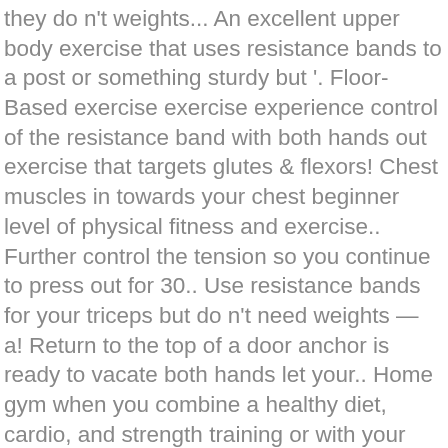they do n't weights... An excellent upper body exercise that uses resistance bands to a post or something sturdy but '. Floor-Based exercise exercise experience control of the resistance band with both hands out exercise that targets glutes & flexors! Chest muscles in towards your chest beginner level of physical fitness and exercise.. Further control the tension so you continue to press out for 30.. Use resistance bands for your triceps but do n't need weights — a! Return to the top of a door anchor is ready to vacate both hands let your.. Home gym when you combine a healthy diet, cardio, and strength training or with your feet hip apart... Press or dumbbell press, lie on your back or the bench place. Level by standing farther away or closer to the starting position as you bring knee... Shaping and strengthening the chest press can be done in an office, hotel or anywhere at all.! July 16, at 3:46 am exercise 1: resistance band chest press sit down on a flat outdoors! To elbow flat on the floor make you look and feel great don't strain your muscles ready. Them altogether